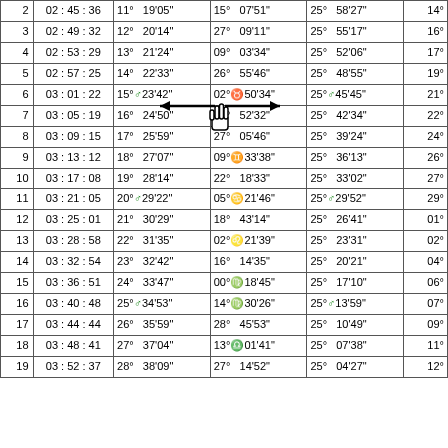| 2 | 02 : 45 : 36 | 11°  19'05" | 15°  07'51" | 25°  58'27" | 14° |
| 3 | 02 : 49 : 32 | 12°  20'14" | 27°  09'11" | 25°  55'17" | 16° |
| 4 | 02 : 53 : 29 | 13°  21'24" | 09°  03'34" | 25°  52'06" | 17° |
| 5 | 02 : 57 : 25 | 14°  22'33" | 26°  55'46" | 25°  48'55" | 19° |
| 6 | 03 : 01 : 22 | 15° ♂ 23'42" | 02° ♉ 50'34" | 25° ♂ 45'45" | 21° |
| 7 | 03 : 05 : 19 | 16°  24'50" | 14°  52'32" | 25°  42'34" | 22° |
| 8 | 03 : 09 : 15 | 17°  25'59" | 27°  05'46" | 25°  39'24" | 24° |
| 9 | 03 : 13 : 12 | 18°  27'07" | 09° ♊ 33'38" | 25°  36'13" | 26° |
| 10 | 03 : 17 : 08 | 19°  28'14" | 22°  18'33" | 25°  33'02" | 27° |
| 11 | 03 : 21 : 05 | 20° ♂ 29'22" | 05° ♋ 21'46" | 25° ♂ 29'52" | 29° |
| 12 | 03 : 25 : 01 | 21°  30'29" | 18°  43'14" | 25°  26'41" | 01° |
| 13 | 03 : 28 : 58 | 22°  31'35" | 02° ♌ 21'39" | 25°  23'31" | 02° |
| 14 | 03 : 32 : 54 | 23°  32'42" | 16°  14'35" | 25°  20'21" | 04° |
| 15 | 03 : 36 : 51 | 24°  33'47" | 00° ♍ 18'45" | 25°  17'10" | 06° |
| 16 | 03 : 40 : 48 | 25° ♂ 34'53" | 14° ♍ 30'26" | 25° ♂ 13'59" | 07° |
| 17 | 03 : 44 : 44 | 26°  35'59" | 28°  45'53" | 25°  10'49" | 09° |
| 18 | 03 : 48 : 41 | 27°  37'04" | 13° ♎ 01'41" | 25°  07'38" | 11° |
| 19 | 03 : 52 : 37 | 28°  38'09" | 27°  14'52" | 25°  04'27" | 12° |
[Figure (illustration): Arrow annotation with pointing hand cursor overlaid on row 3-4 of the table, showing a left arrow and right arrow with a hand pointer icon in between.]